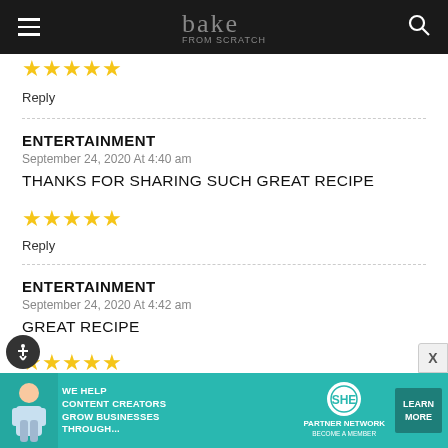bake from scratch
★★★★★
Reply
ENTERTAINMENT
September 24, 2020 At 4:40 am
THANKS FOR SHARING SUCH GREAT RECIPE
★★★★★
Reply
ENTERTAINMENT
September 24, 2020 At 4:42 am
GREAT RECIPE
★★★★★
Reply
[Figure (infographic): SHE Media Partner Network advertisement banner: WE HELP CONTENT CREATORS GROW BUSINESSES THROUGH... LEARN MORE / BECOME A MEMBER]